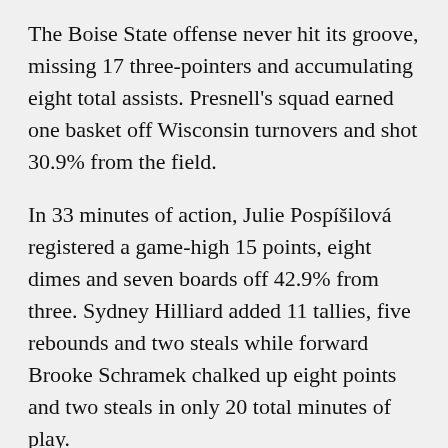The Boise State offense never hit its groove, missing 17 three-pointers and accumulating eight total assists. Presnell's squad earned one basket off Wisconsin turnovers and shot 30.9% from the field.
In 33 minutes of action, Julie Pospíšilová registered a game-high 15 points, eight dimes and seven boards off 42.9% from three. Sydney Hilliard added 11 tallies, five rebounds and two steals while forward Brooke Schramek chalked up eight points and two steals in only 20 total minutes of play.
Sophomore Mary Kay Naro led the way for the Broncos, hitting three field goals and four attempts from the charity stripe, dishing out six assists and snatching four rebounds in 38 minutes. Redshirt senior Dominique Leonidas executed on two of four shots from outside, and sophomore Elodie Lalotte racked up eight tallies off 80% from the floor to go